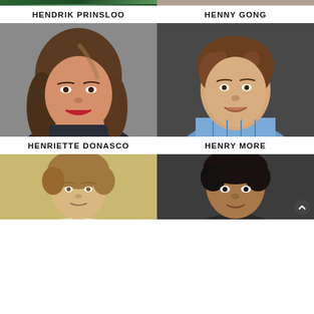[Figure (photo): Partial top of Hendrik Prinsloo photo (green background, cropped at top)]
[Figure (photo): Partial top of Henny Gong photo (light neutral background, cropped at top)]
HENDRIK PRINSLOO
HENNY GONG
[Figure (photo): Henriette Donasco - woman with long brown hair, red lipstick, dark turtleneck sweater, smiling, gray background]
[Figure (photo): Henry More - young man with curly brown hair, blue plaid shirt, smiling, dark background]
HENRIETTE DONASCO
HENRY MORE
[Figure (photo): Bottom partial photo - person with short hair, beige/tan background, cropped]
[Figure (photo): Bottom partial photo - person with dark short hair, dark background, cropped, scroll-to-top button visible]